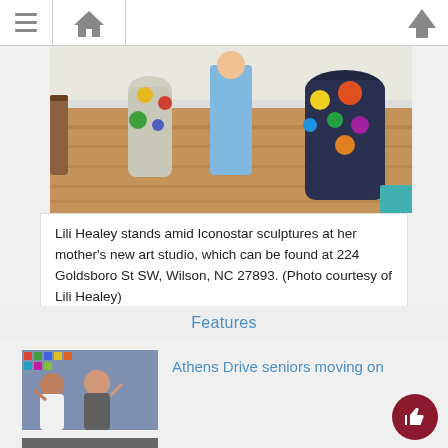[Figure (photo): Navigation bar with hamburger menu, home icon, and up arrow icon]
[Figure (photo): Photo of Lili Healey standing amid Iconostar sculptures on a wooden floor in her mother's new art studio]
Lili Healey stands amid Iconostar sculptures at her mother's new art studio, which can be found at 224 Goldsboro St SW, Wilson, NC 27893. (Photo courtesy of Lili Healey)
Features
[Figure (photo): Thumbnail photo of two people waving in front of a colorful wall of images]
Athens Drive seniors moving on